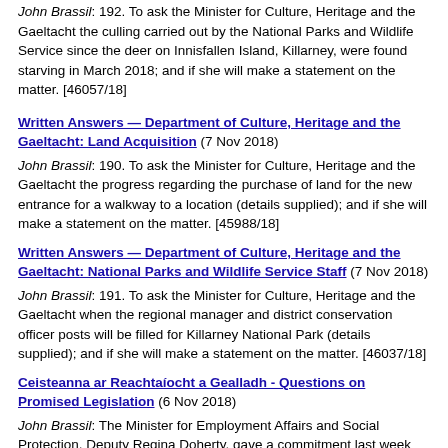John Brassil: 192. To ask the Minister for Culture, Heritage and the Gaeltacht the culling carried out by the National Parks and Wildlife Service since the deer on Innisfallen Island, Killarney, were found starving in March 2018; and if she will make a statement on the matter. [46057/18]
Written Answers — Department of Culture, Heritage and the Gaeltacht: Land Acquisition (7 Nov 2018)
John Brassil: 190. To ask the Minister for Culture, Heritage and the Gaeltacht the progress regarding the purchase of land for the new entrance for a walkway to a location (details supplied); and if she will make a statement on the matter. [45988/18]
Written Answers — Department of Culture, Heritage and the Gaeltacht: National Parks and Wildlife Service Staff (7 Nov 2018)
John Brassil: 191. To ask the Minister for Culture, Heritage and the Gaeltacht when the regional manager and district conservation officer posts will be filled for Killarney National Park (details supplied); and if she will make a statement on the matter. [46037/18]
Ceisteanna ar Reachtaíocht a Gealladh - Questions on Promised Legislation (6 Nov 2018)
John Brassil: The Minister for Employment Affairs and Social Protection, Deputy Regina Doherty, gave a commitment last week that the 20,000 people still owed some of their illness benefit payment, if not all of it, would be paid by Monday. Monday has come and gone and there are still